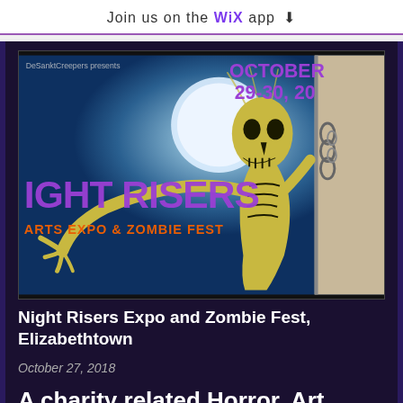Join us on the WiX app ↓
[Figure (illustration): Night Risers Arts Expo & Zombie Fest event poster featuring a skeletal zombie figure reaching outward against a moonlit blue sky background. Text reads 'Night Risers Arts Expo & Zombie Fest OCTOBER 29-30, 20' (partially cropped). Small text at top left reads 'DeSanktCreepers presents'.]
Night Risers Expo and Zombie Fest, Elizabethtown
October 27, 2018
A charity related Horror, Art, Comic Con Event which features a zombie walk